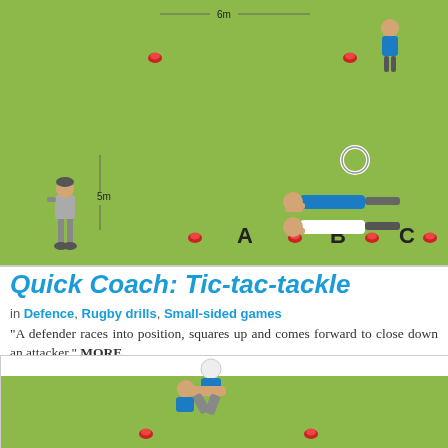[Figure (illustration): Rugby coaching drill diagram showing a green field with red marker cones, letters A, B, C marking positions, a '6m' distance label at top, a '5m' distance label on left side, a coach figure standing on left, two players lying prone on the right, and a ring/hoop marker. Top diagram of Tic-tac-tackle drill.]
Quick Coach: Tic-tac-tackle
in Defence, Rugby drills, Small-sided games
"A defender races into position, squares up and comes forward to close down an attacker." MORE
[Figure (illustration): Rugby coaching drill diagram showing bottom portion of the Tic-tac-tackle drill with a green field, two red marker cones, and a player making a tackle on another player.]